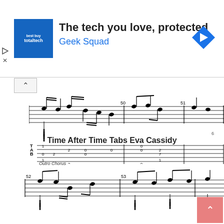[Figure (illustration): Advertisement banner: Best Buy Total Tech logo (blue square) on left, text 'The tech you love, protected' in bold and 'Geek Squad' in blue below. Navigation arrow icon on right.]
[Figure (illustration): Guitar sheet music and tablature notation showing measures 50 and 51 with notes and tab numbers on 6-string guitar staff.]
Time After Time Tabs Eva Cassidy
6
Outro Chorus
[Figure (illustration): Guitar sheet music and tablature notation showing measures 52 and 53 with notes on 6-string guitar staff — Outro Chorus section.]